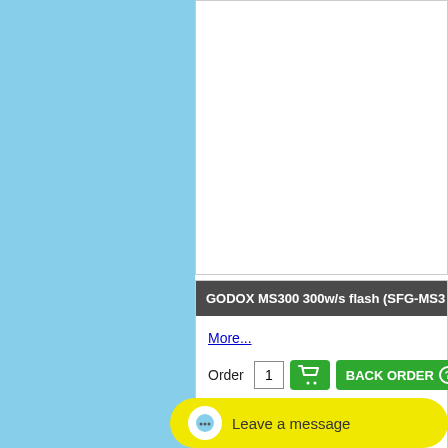[Figure (screenshot): Left blue panel background]
[Figure (screenshot): White content box top area (empty/cut off)]
GODOX MS300 300w/s flash (SFG-MS3...
More...
Order 1 [cart icon] BACK ORDER [?]
GODOX R-14 godox mnt reflector (SFG-...
Leave a message